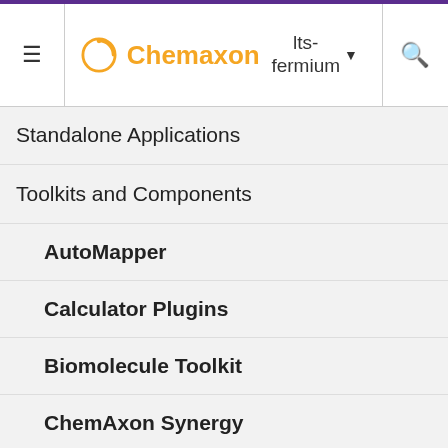Chemaxon | lts-fermium
Standalone Applications
Toolkits and Components
AutoMapper
Calculator Plugins
Biomolecule Toolkit
ChemAxon Synergy
Document to Structure
JChem Base
JChem Choral
extern web sites to you only as a conve and the inclusi any